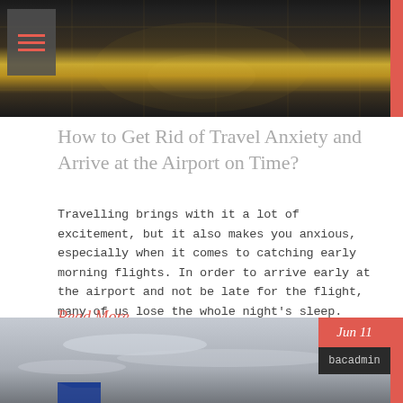[Figure (photo): Dark airport interior photo with tiled floor and dim warm lighting, viewed from above or at ground level. Dark background with amber/golden reflection.]
How to Get Rid of Travel Anxiety and Arrive at the Airport on Time?
Travelling brings with it a lot of excitement, but it also makes you anxious, especially when it comes to catching early morning flights. In order to arrive early at the airport and not be late for the flight, many of us lose the whole night's sleep. Nevertheless, the anxiety never leaves our body, and we...
Read More
[Figure (photo): Outdoor aviation photo showing cloudy grey sky. Date badge showing 'Jun 11' in red and author label 'bacadmin' in dark box at lower right. Blue aircraft tail visible at bottom left.]